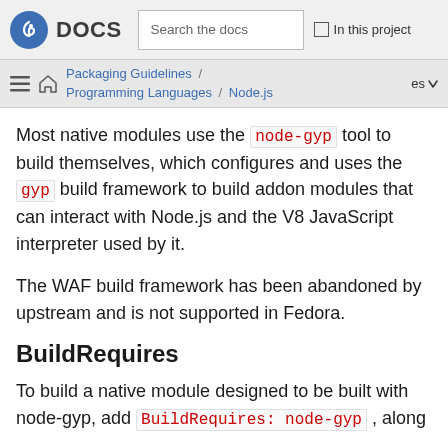Fedora DOCS | Search the docs | In this project
Packaging Guidelines / Programming Languages / Node.js | es
Most native modules use the node-gyp tool to build themselves, which configures and uses the gyp build framework to build addon modules that can interact with Node.js and the V8 JavaScript interpreter used by it.
The WAF build framework has been abandoned by upstream and is not supported in Fedora.
BuildRequires
To build a native module designed to be built with node-gyp, add BuildRequires: node-gyp , along